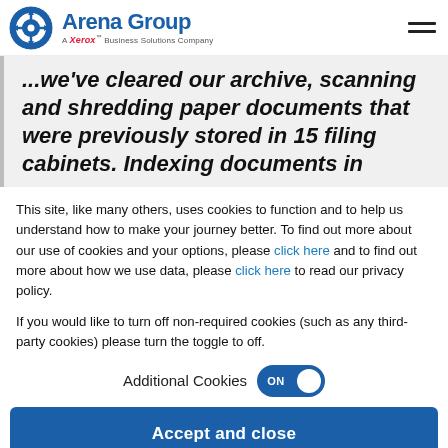Arena Group — A Xerox Business Solutions Company
...we've cleared our archive, scanning and shredding paper documents that were previously stored in 15 filing cabinets. Indexing documents in
This site, like many others, uses cookies to function and to help us understand how to make your journey better. To find out more about our use of cookies and your options, please click here and to find out more about how we use data, please click here to read our privacy policy.
If you would like to turn off non-required cookies (such as any third-party cookies) please turn the toggle to off.
Additional Cookies ON
Accept and close